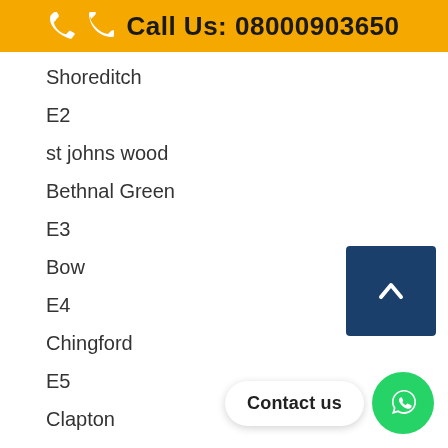Call Us: 08000903650
Shoreditch
E2
st johns wood
Bethnal Green
E3
Bow
E4
Chingford
E5
Clapton
Homerton